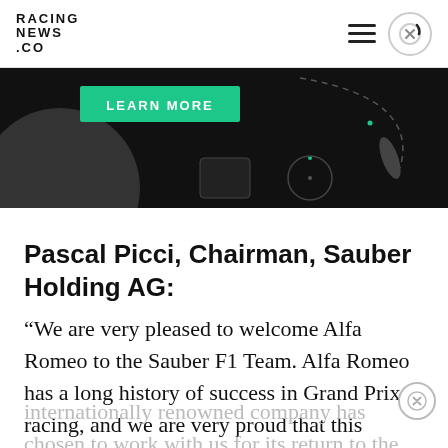RACING NEWS.CO
[Figure (screenshot): Advertisement banner with dark background showing 'LEARN MORE' button in green and abstract graphic elements]
Pascal Picci, Chairman, Sauber Holding AG:
“We are very pleased to welcome Alfa Romeo to the Sauber F1 Team. Alfa Romeo has a long history of success in Grand Prix racing, and we are very proud that this internationally renowned company has chosen to work with us for its return to the pinnacle of motorsport. Working closely with a car manufacturer is a great opportunity for